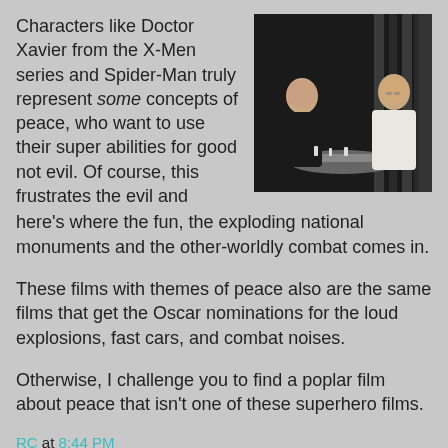Characters like Doctor Xavier from the X-Men series and Spider-Man truly represent some concepts of peace, who want to use their super abilities for good not evil. Of course, this frustrates the evil and here's where the fun, the exploding national monuments and the other-worldly combat comes in.
[Figure (photo): Two men sitting at a table across from each other, one in black clothing and one in white clothing, appears to be a movie still.]
These films with themes of peace also are the same films that get the Oscar nominations for the loud explosions, fast cars, and combat noises.
Otherwise, I challenge you to find a poplar film about peace that isn't one of these superhero films.
RC at 8:44 PM
Share